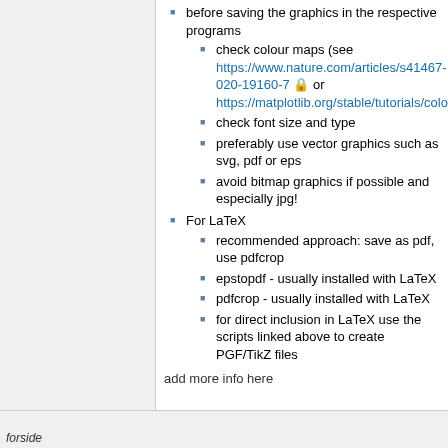before saving the graphics in the respective programs
check colour maps (see https://www.nature.com/articles/s41467-020-19160-7 or https://matplotlib.org/stable/tutorials/colors/
check font size and type
preferably use vector graphics such as svg, pdf or eps
avoid bitmap graphics if possible and especially jpg!
For LaTeX
recommended approach: save as pdf, use pdfcrop
epstopdf - usually installed with LaTeX
pdfcrop - usually installed with LaTeX
for direct inclusion in LaTeX use the scripts linked above to create PGF/TikZ files
add more info here
forside